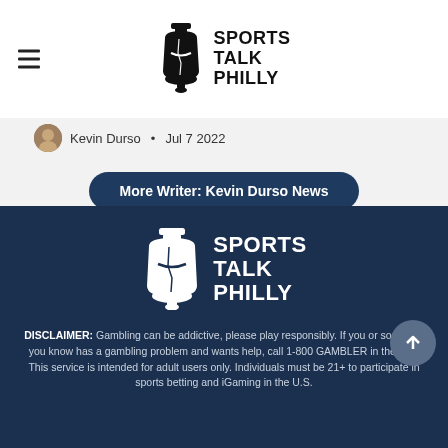SPORTS TALK PHILLY
Kevin Durso • Jul 7 2022
More Writer: Kevin Durso News
[Figure (logo): Sports Talk Philly logo with Liberty Bell icon and site name in white on dark navy background]
DISCLAIMER: Gambling can be addictive, please play responsibly. If you or someone you know has a gambling problem and wants help, call 1-800 GAMBLER in the U.S. This service is intended for adult users only. Individuals must be 21+ to participate in sports betting and iGaming in the U.S.